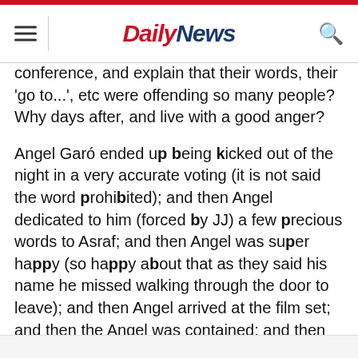Daily News
conference, and explain that their words, their 'go to...', etc were offending so many people? Why days after, and live with a good anger?
Angel Garó ended up being kicked out of the night in a very accurate voting (it is not said the word prohibited); and then Angel dedicated to him (forced by JJ) a few precious words to Asraf; and then Angel was super happy (so happy about that as they said his name he missed walking through the door to leave); and then Angel arrived at the film set; and then the Angel was contained; and then Angel thought that it was all a assembly, and that that had been done was for one litre of milk Verdeliss.